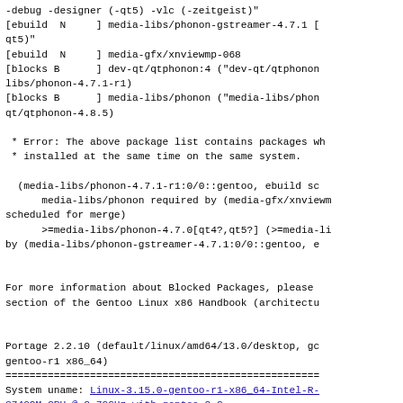-debug -designer (-qt5) -vlc (-zeitgeist)"
[ebuild  N     ] media-libs/phonon-gstreamer-4.7.1  qt5)"
[ebuild  N     ] media-gfx/xnviewmp-068
[blocks B      ] dev-qt/qtphonon:4 ("dev-qt/qtphonon  libs/phonon-4.7.1-r1)
[blocks B      ] media-libs/phonon ("media-libs/phonon  qt/qtphonon-4.8.5)

 * Error: The above package list contains packages wh  * installed at the same time on the same system.

  (media-libs/phonon-4.7.1-r1:0/0::gentoo, ebuild sc      media-libs/phonon required by (media-gfx/xnviewmp  scheduled for merge)
      >=media-libs/phonon-4.7.0[qt4?,qt5?] (>=media-li  by (media-libs/phonon-gstreamer-4.7.1:0/0::gentoo, e


For more information about Blocked Packages, please  section of the Gentoo Linux x86 Handbook (architectu


Portage 2.2.10 (default/linux/amd64/13.0/desktop, gc  gentoo-r1 x86_64)
=====================================================
System uname: Linux-3.15.0-gentoo-r1-x86_64-Intel-R-3740QM CPU @ 2.70GHz-with-gentoo-2.2
KiB Mem:    24627364 total,  22602032 free
KiB Swap:   25598972 total,  25598972 free